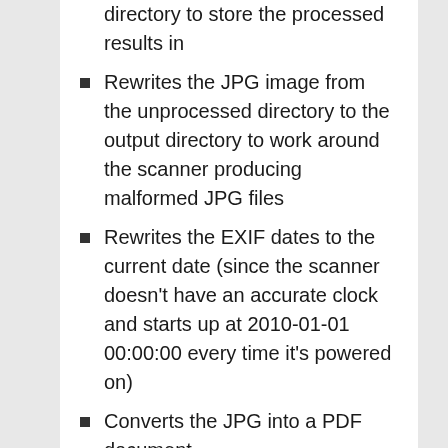directory to store the processed results in
Rewrites the JPG image from the unprocessed directory to the output directory to work around the scanner producing malformed JPG files
Rewrites the EXIF dates to the current date (since the scanner doesn’t have an accurate clock and starts up at 2010-01-01 00:00:00 every time it’s powered on)
Converts the JPG into a PDF document
Uses pdfsandwich to do the OCR and produce the final PDF we’re after
Passing calls to gs through a wrapper script which noops some of the operations, for the reasons described below
Moves the PDF into the right place and cleans up all the temporary files
Pushes the OCR’d PDF to Google Drive